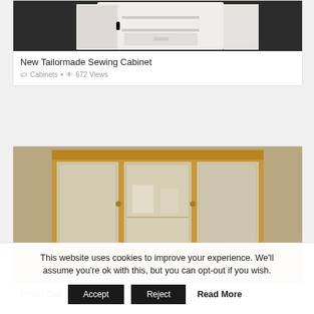[Figure (photo): White sewing cabinet with open door revealing interior shelves and drawer, photographed against dark background]
New Tailormade Sewing Cabinet
Cabinets • 672 Views
[Figure (photo): Oak china cabinet with glass doors and mirrored back panels showing reflections of a dining room, ornate carved wooden base]
Fresh Oak China Cabinets for Sale
This website uses cookies to improve your experience. We'll assume you're ok with this, but you can opt-out if you wish.